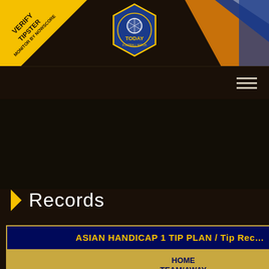[Figure (logo): Today Football Match website header with yellow corner badge reading VERIFY TIPSTER / MONITOR BY NOWSCORE, centered logo with hexagonal Today Football Match emblem, and decorative orange/blue shapes on the right side]
VERIFY TIPSTER MONITOR BY NOWSCORE
Records
| DATE | LEAGUE | HOME TEAM/AWAY TEAM | TIPS |
| --- | --- | --- | --- |